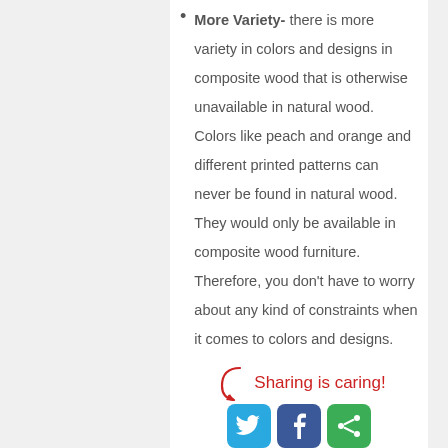More Variety- there is more variety in colors and designs in composite wood that is otherwise unavailable in natural wood. Colors like peach and orange and different printed patterns can never be found in natural wood. They would only be available in composite wood furniture. Therefore, you don't have to worry about any kind of constraints when it comes to colors and designs. Anything and everything you want is available.
[Figure (infographic): Sharing is caring! text with arrow and social media buttons for Twitter, Facebook, and a share button]